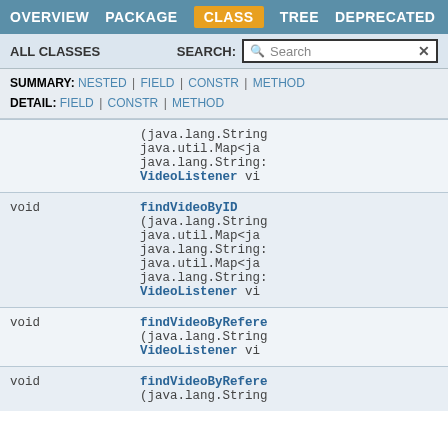OVERVIEW | PACKAGE | CLASS | TREE | DEPRECATED | INDEX
ALL CLASSES   SEARCH: [Search]
SUMMARY: NESTED | FIELD | CONSTR | METHOD
DETAIL: FIELD | CONSTR | METHOD
| Return Type | Method Signature |
| --- | --- |
| void | (java.lang.String
java.util.Map<ja
java.lang.String:
VideoListener vi |
| void | findVideoByID
(java.lang.String
java.util.Map<ja
java.lang.String:
java.util.Map<ja
java.lang.String:
VideoListener vi |
| void | findVideoByRefere
(java.lang.String
VideoListener vi |
| void | findVideoByRefere
(java.lang.String |